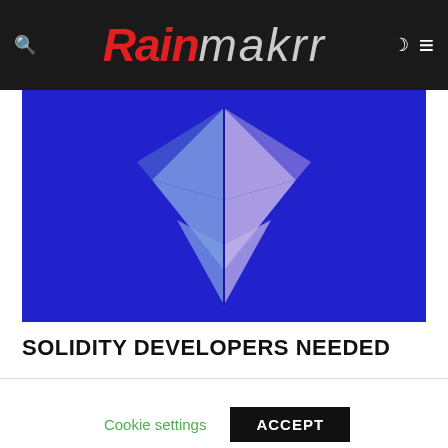Rainmakrr
[Figure (illustration): Solidity programming language logo — a blue geometric diamond/chevron shape on a blue background, with triangular facets in light blue and lavender tones]
SOLIDITY DEVELOPERS NEEDED
This website uses cookies to improve your experience. We'll assume you're ok with this, but you can opt-out if you wish.
Cookie settings   ACCEPT